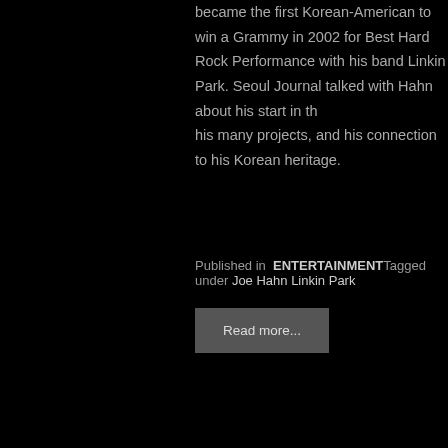became the first Korean-American to win a Grammy in 2002 for Best Hard Rock Performance with his band Linkin Park. Seoul Journal talked with Hahn about his start in the music industry, his many projects, and his connection to his Korean heritage.
Published in  ENTERTAINMENT Tagged under  Joe Hahn Linkin Park
Read more...
Sunday, 28 August 2016 00:00
Operation Chromite
Written by Seoul Journal
[Figure (photo): Movie poster or promotional image for Operation Chromite showing military-themed figures]